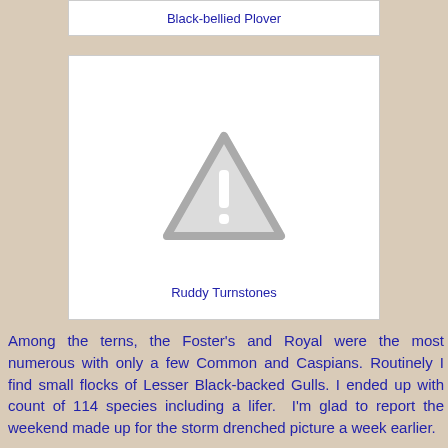Black-bellied Plover
[Figure (photo): Image placeholder with warning/missing image triangle icon for Ruddy Turnstones]
Ruddy Turnstones
Among the terns, the Foster's and Royal were the most numerous with only a few Common and Caspians. Routinely I find small flocks of Lesser Black-backed Gulls. I ended up with count of 114 species including a lifer. I'm glad to report the weekend made up for the storm drenched picture a week earlier.